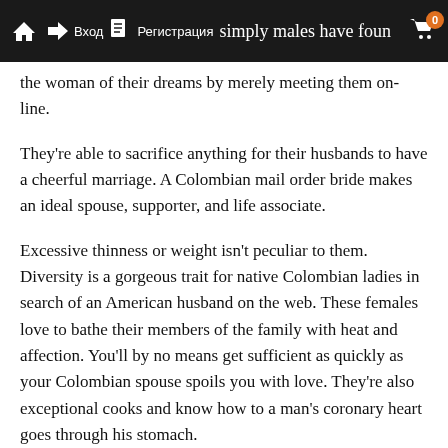[nav icons: home, arrow, Вход, document, Регистрация] ...reviews an d... simply males have found [cart icon: 0]
the woman of their dreams by merely meeting them on-line.
They're able to sacrifice anything for their husbands to have a cheerful marriage. A Colombian mail order bride makes an ideal spouse, supporter, and life associate.
Excessive thinness or weight isn't peculiar to them. Diversity is a gorgeous trait for native Colombian ladies in search of an American husband on the web. These females love to bathe their members of the family with heat and affection. You'll by no means get sufficient as quickly as your Colombian spouse spoils you with love. They're also exceptional cooks and know how to a man's coronary heart goes through his stomach.